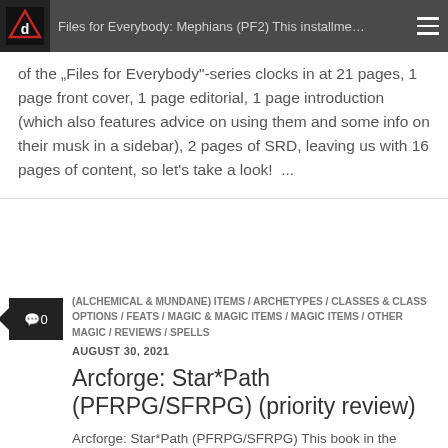Files for Everybody: Mephians (PF2) This installment of the "Files for Everybody"-series clocks in at 21 pages, 1 page front cover, 1 page editorial, 1 page introduction (which also features advice on using them and some info on their musk in a sidebar), 2 pages of SRD, leaving us with 16 pages of content, so let's take a look!  ...
(ALCHEMICAL & MUNDANE) ITEMS / ARCHETYPES / CLASSES & CLASS OPTIONS / FEATS / MAGIC & MAGIC ITEMS / MAGIC ITEMS / OTHER MAGIC / REVIEWS / SPELLS
AUGUST 30, 2021
Arcforge: Star*Path (PFRPG/SFRPG) (priority review)
Arcforge: Star*Path (PFRPG/SFRPG) This book in the